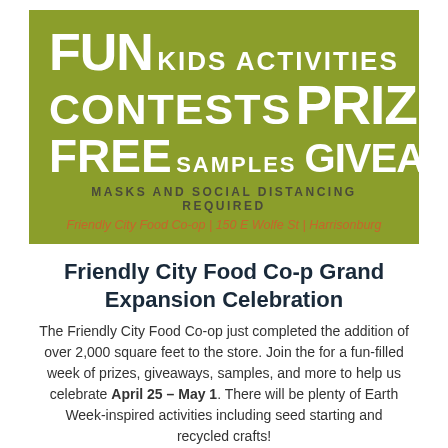[Figure (infographic): Green banner advertisement with white and orange text promoting fun kids activities, contests, prizes, free samples, giveaways, masks and social distancing required, and address: Friendly City Food Co-op | 150 E Wolfe St | Harrisonburg]
Friendly City Food Co-p Grand Expansion Celebration
The Friendly City Food Co-op just completed the addition of over 2,000 square feet to the store. Join the for a fun-filled week of prizes, giveaways, samples, and more to help us celebrate April 25 – May 1. There will be plenty of Earth Week-inspired activities including seed starting and recycled crafts!